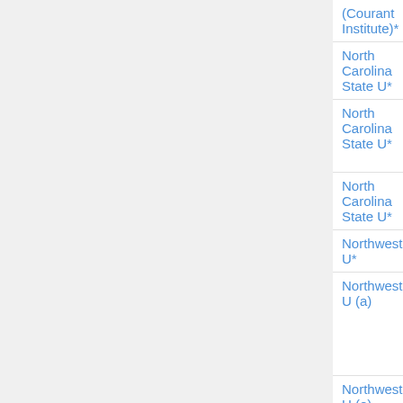| Institution | Area | Date | Contact |
| --- | --- | --- | --- |
| (Courant Institute)* |  |  | Tygert |
| North Carolina State U* | biomath | Dec 1 | canceled |
| North Carolina State U* | applied | Dec 1 | David F. Anderson; John Harlim □ |
| North Carolina State U* | education | Jan 1 | canceled |
| Northwestern U* | all math | Oct |  |
| Northwestern U (a) | applied | Jan 1 | Ching-Shan Chou, Pa Wing Fok, Mark Kramer |
| Northwestern U (o) | oper res | Dec 31 |  |